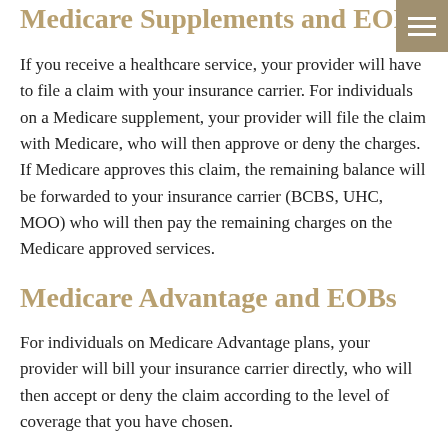Medicare Supplements and EOBs
If you receive a healthcare service, your provider will have to file a claim with your insurance carrier. For individuals on a Medicare supplement, your provider will file the claim with Medicare, who will then approve or deny the charges. If Medicare approves this claim, the remaining balance will be forwarded to your insurance carrier (BCBS, UHC, MOO) who will then pay the remaining charges on the Medicare approved services.
Medicare Advantage and EOBs
For individuals on Medicare Advantage plans, your provider will bill your insurance carrier directly, who will then accept or deny the claim according to the level of coverage that you have chosen.